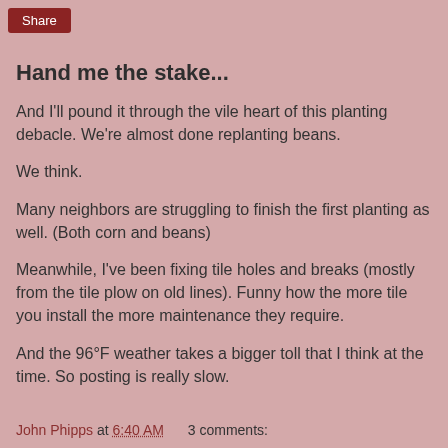Share
Hand me the stake...
And I'll pound it through the vile heart of this planting debacle. We're almost done replanting beans.
We think.
Many neighbors are struggling to finish the first planting as well. (Both corn and beans)
Meanwhile, I've been fixing tile holes and breaks (mostly from the tile plow on old lines). Funny how the more tile you install the more maintenance they require.
And the 96°F weather takes a bigger toll that I think at the time. So posting is really slow.
John Phipps at 6:40 AM    3 comments: